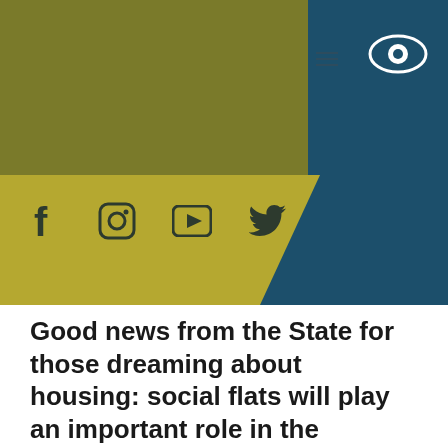[Figure (other): Website header with olive/gold background and teal panel on right, featuring an eye icon in a dark teal box and hamburger menu lines]
[Figure (other): Social media icons bar on gold/olive background with teal diagonal overlay: Facebook, Instagram, YouTube, Twitter icons]
Good news from the State for those dreaming about housing: social flats will play an important role in the resolution of problems in this field.
17/08/2016
One of the most important issues that have risen following the formation of the independent Azerbaijani State was the